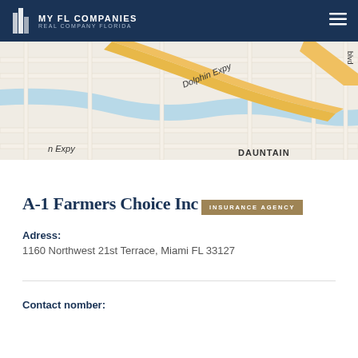MY FL COMPANIES REAL COMPANY FLORIDA
[Figure (map): Street map showing Dolphin Expy area in Miami, FL with road network, water features, and surrounding streets]
A-1 Farmers Choice Inc
INSURANCE AGENCY
Adress: 1160 Northwest 21st Terrace, Miami FL 33127
Contact nomber: